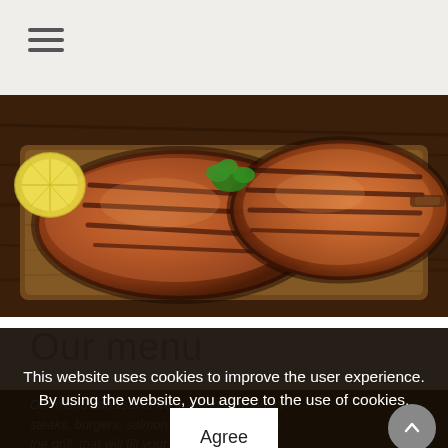≡ (hamburger menu icon)
[Figure (photo): Photo of grilled meat steaks on a wooden cutting board with lemon slices and parsley garnish]
Our menu
Our menu consists of fresh salads, products steaks, burgers, salmon and many more on the grill, that will fill your appetite and will remain unforgettable.
This website uses cookies to improve the user experience. By using the website, you agree to the use of cookies.
Agree